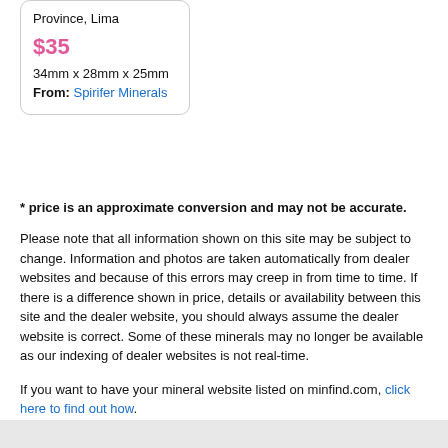Province, Lima
$35
34mm x 28mm x 25mm
From: Spirifer Minerals
* price is an approximate conversion and may not be accurate.
Please note that all information shown on this site may be subject to change. Information and photos are taken automatically from dealer websites and because of this errors may creep in from time to time. If there is a difference shown in price, details or availability between this site and the dealer website, you should always assume the dealer website is correct. Some of these minerals may no longer be available as our indexing of dealer websites is not real-time.
If you want to have your mineral website listed on minfind.com, click here to find out how.
Website copyright © J.Ralph and minfind.com 2009-2022. All photographs and mineral descriptions remain copyright of the mineral dealers. All Rights Reserved.